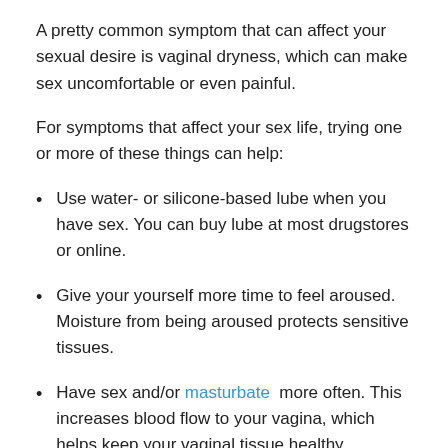A pretty common symptom that can affect your sexual desire is vaginal dryness, which can make sex uncomfortable or even painful.
For symptoms that affect your sex life, trying one or more of these things can help:
Use water- or silicone-based lube when you have sex. You can buy lube at most drugstores or online.
Give your yourself more time to feel aroused. Moisture from being aroused protects sensitive tissues.
Have sex and/or masturbate more often. This increases blood flow to your vagina, which helps keep your vaginal tissue healthy.